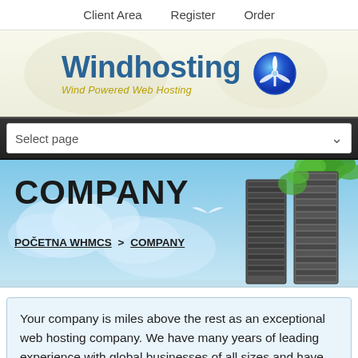Client Area   Register   Order
[Figure (logo): Windhosting logo with wind turbine icon and tagline 'Wind Powered Web Hosting']
Select page
[Figure (illustration): Hero banner with sky background, server racks on right, bird silhouette, showing COMPANY title and breadcrumb navigation]
COMPANY
POČETNA WHMCS > COMPANY
Your company is miles above the rest as an exceptional web hosting company. We have many years of leading experience with global businesses of all sizes and have built up an affluence of web hosting expertise that put down us a scratch above other web hosting companies in this time. Your company is a company that you can rely on for all of your web hosting. With 24 hour support and a money back